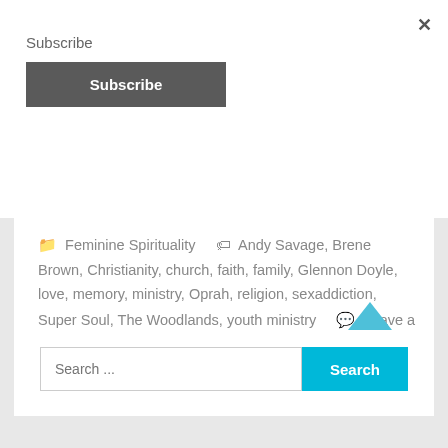Subscribe
Subscribe
× (close)
Feminine Spirituality   Andy Savage, Brene Brown, Christianity, church, faith, family, Glennon Doyle, love, memory, ministry, Oprah, religion, sexaddiction, Super Soul, The Woodlands, youth ministry   Leave a comment
Search ...
Search